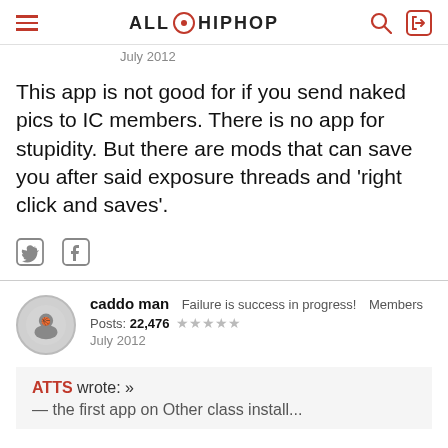ALL HIP HOP
July 2012
This app is not good for if you send naked pics to IC members. There is no app for stupidity. But there are mods that can save you after said exposure threads and 'right click and saves'.
caddo man  Failure is success in progress!  Members
Posts: 22,476  ★★★★★
July 2012
ATTS wrote: »